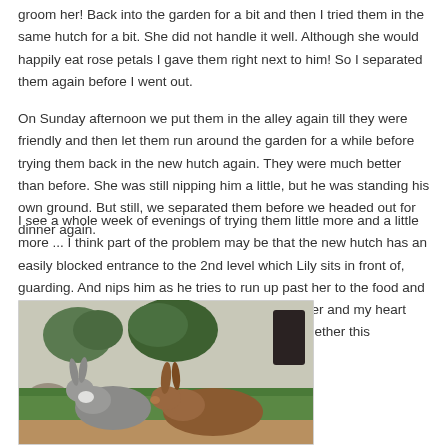groom her! Back into the garden for a bit and then I tried them in the same hutch for a bit. She did not handle it well. Although she would happily eat rose petals I gave them right next to him! So I separated them again before I went out.
On Sunday afternoon we put them in the alley again till they were friendly and then let them run around the garden for a while before trying them back in the new hutch again. They were much better than before. She was still nipping him a little, but he was standing his own ground. But still, we separated them before we headed out for dinner again.
I see a whole week of evenings of trying them little more and a little more ... I think part of the problem may be that the new hutch has an easily blocked entrance to the 2nd level which Lily sits in front of, guarding. And nips him as he tries to run up past her to the food and water. They'll get there ... but we are so much cuter and my heart was positively melting seeing them be friendly together this weekend!
[Figure (photo): Two rabbits sitting on grass in a garden. On the left is a grey and white rabbit, on the right is a brown rabbit. Green plants and a dark pot visible in the background.]